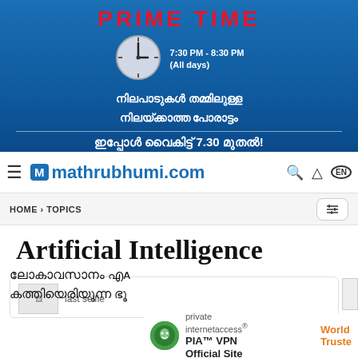[Figure (photo): Advertisement banner for 'Prime Time' show on mathrubhumi.com. Blue background with red 'PRIME TIME' text, a clock graphic, time '7:30 PM - 8:30 PM (All days)', and Malayalam text.]
mathrubhumi.com
HOME › TOPICS
Artificial Intelligence
[Figure (photo): Broken image placeholder labeled 'last selfie']
ലോകാവസാനം എ... കത്തിയെരിയുന്ന ഭൂ...
[Figure (photo): PIA VPN advertisement overlay with green mascot logo, text 'PIA™ VPN Official Site' and 'World Truste']